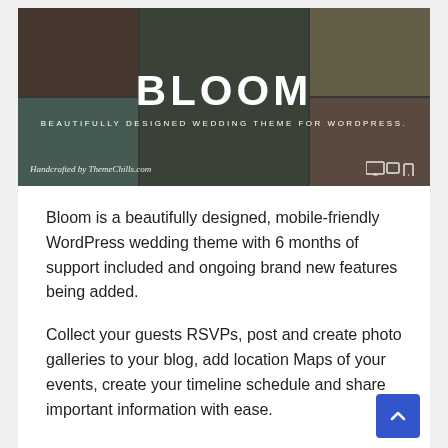[Figure (photo): Bloom WordPress wedding theme banner — collage of wedding photos with large white 'BLOOM' text in center, subtitle 'BEAUTIFULLY DESIGNED WEDDING THEME FOR WORDPRESS.', handcrafted signature bottom left, and device icons bottom right]
Bloom is a beautifully designed, mobile-friendly WordPress wedding theme with 6 months of support included and ongoing brand new features being added.
Collect your guests RSVPs, post and create photo galleries to your blog, add location Maps of your events, create your timeline schedule and share important information with ease.